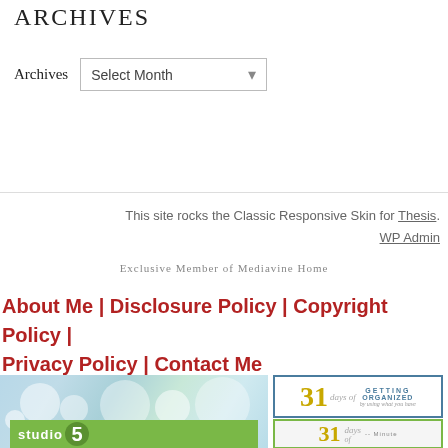Archives
Archives   Select Month
This site rocks the Classic Responsive Skin for Thesis. WP Admin
Exclusive Member of Mediavine Home
About Me | Disclosure Policy | Copyright Policy | Privacy Policy | Contact Me
[Figure (screenshot): Bottom collage showing bokeh light background on left, Studio 5 logo at bottom left, and '31 days of Getting Organized' card on right, with second '31 days' card partially visible below]